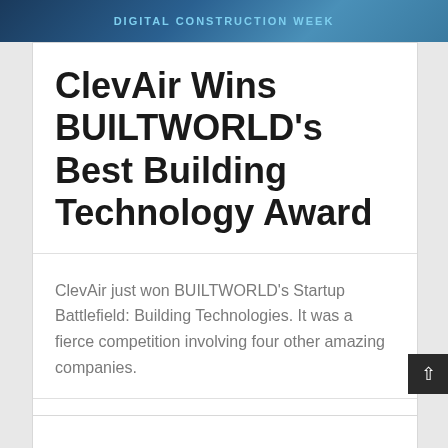DIGITAL CONSTRUCTION WEEK
ClevAir Wins BUILTWORLD's Best Building Technology Award
ClevAir just won BUILTWORLD's Startup Battlefield: Building Technologies. It was a fierce competition involving four other amazing companies.
Building Automation, Building Optimization, ClevAir News, Property Technology